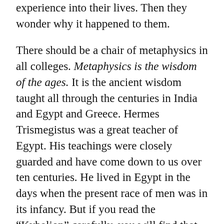experience into their lives. Then they wonder why it happened to them.
There should be a chair of metaphysics in all colleges. Metaphysics is the wisdom of the ages. It is the ancient wisdom taught all through the centuries in India and Egypt and Greece. Hermes Trismegistus was a great teacher of Egypt. His teachings were closely guarded and have come down to us over ten centuries. He lived in Egypt in the days when the present race of men was in its infancy. But if you read the “Kybalion” carefully, you will find that he taught just what we are teaching today. He said that all mental states were accompanied by vibrations. You combine with what you vibrate to, so let us all now vibrate to success, happiness and abundance.
Now is the appointed time. Today is the day of my